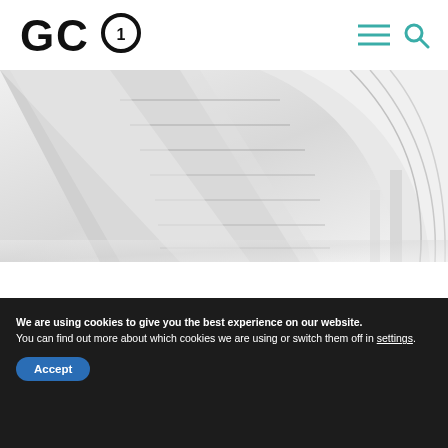GC1 logo and navigation icons
[Figure (photo): Abstract architectural photograph showing curved white structural panels or surfaces with geometric lines, in black and white/grayscale tones]
Past Events
We are using cookies to give you the best experience on our website.
You can find out more about which cookies we are using or switch them off in settings.
Accept